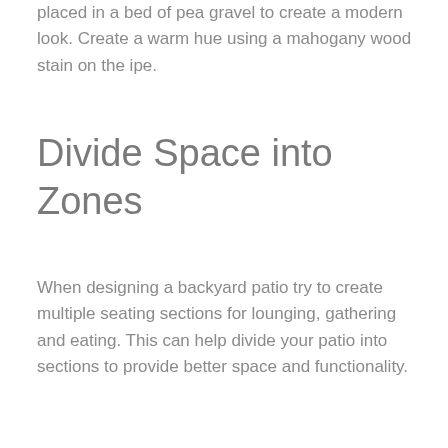placed in a bed of pea gravel to create a modern look. Create a warm hue using a mahogany wood stain on the ipe.
Divide Space into Zones
When designing a backyard patio try to create multiple seating sections for lounging, gathering and eating. This can help divide your patio into sections to provide better space and functionality.
Lighting
When remodeling your patio it is a must to pay attention to the lighting. Ambience is an essential element to any backyard entertaining. To make the most out of your patio you should be able to create